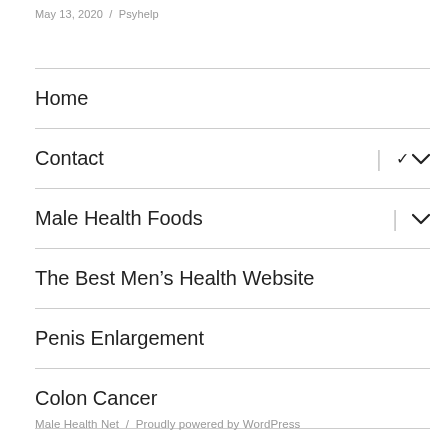May 13, 2020  /  Psyhelp
Home
Contact
Male Health Foods
The Best Men's Health Website
Penis Enlargement
Colon Cancer
Male Health Net  /  Proudly powered by WordPress